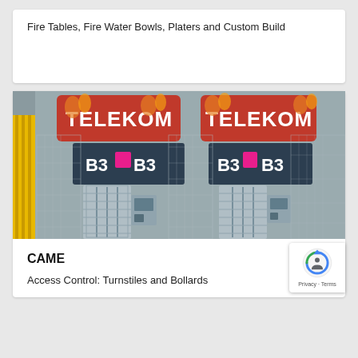Fire Tables, Fire Water Bowls, Platers and Custom Build
[Figure (photo): Photo of Telekom-branded turnstile access control gates labeled B3, with metal grating and security equipment visible. Two sets of turnstiles side by side with yellow fence on left.]
CAME
Access Control: Turnstiles and Bollards